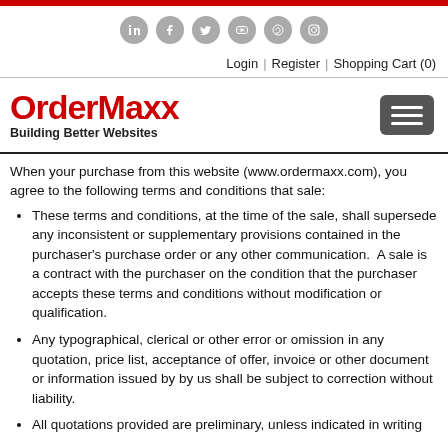Social icons and navigation: Login | Register | Shopping Cart (0)
[Figure (logo): OrderMaxx logo with tagline 'Building Better Websites' and hamburger menu button]
When your purchase from this website (www.ordermaxx.com), you agree to the following terms and conditions that sale:
These terms and conditions, at the time of the sale, shall supersede any inconsistent or supplementary provisions contained in the purchaser's purchase order or any other communication. A sale is a contract with the purchaser on the condition that the purchaser accepts these terms and conditions without modification or qualification.
Any typographical, clerical or other error or omission in any quotation, price list, acceptance of offer, invoice or other document or information issued by by us shall be subject to correction without liability.
All quotations provided are preliminary, unless indicated in writing